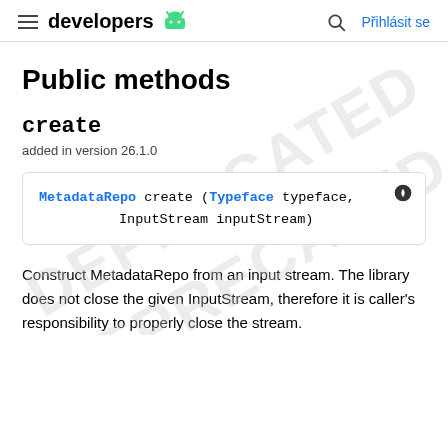developers | Přihlásit se
Public methods
create
added in version 26.1.0
MetadataRepo create (Typeface typeface, InputStream inputStream)
Construct MetadataRepo from an input stream. The library does not close the given InputStream, therefore it is caller's responsibility to properly close the stream.